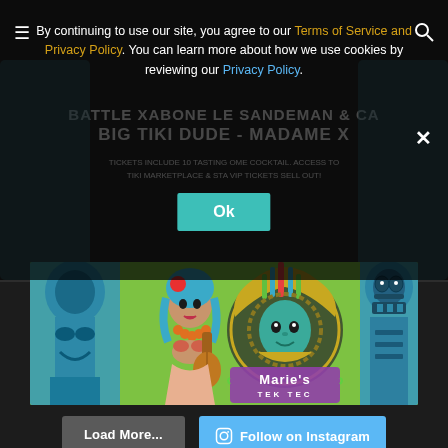[Figure (screenshot): Dark background with partially visible tiki event poster behind a cookie consent overlay. Poster shows tiki/tropical art with text about a tiki event.]
By continuing to use our site, you agree to our Terms of Service and Privacy Policy. You can learn more about how we use cookies by reviewing our Privacy Policy.
Ok
[Figure (illustration): Tiki-themed artwork showing a hula girl with blue hair playing ukulele, a Mayan/Aztec goddess figure in the center with 'Marie's Tek Tec' branding on green background, and a tiki statue on the right.]
Load More...
Follow on Instagram